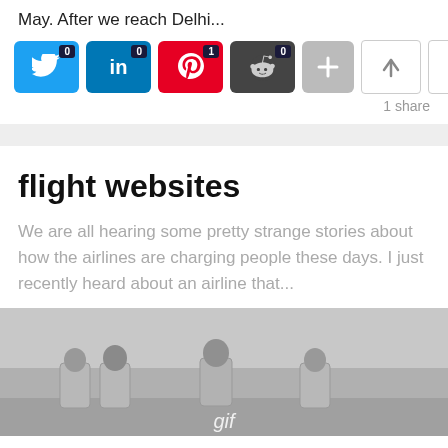May. After we reach Delhi...
[Figure (infographic): Social share buttons: Twitter (0), LinkedIn (0), Pinterest (1), Reddit (0), Plus button, Up arrow, Down arrow. 1 share total.]
1 share
flight websites
We are all hearing some pretty strange stories about how the airlines are charging people these days. I just recently heard about an airline that...
[Figure (photo): Grayscale photo of people inside an airplane cabin, with 'gif' label at the bottom.]